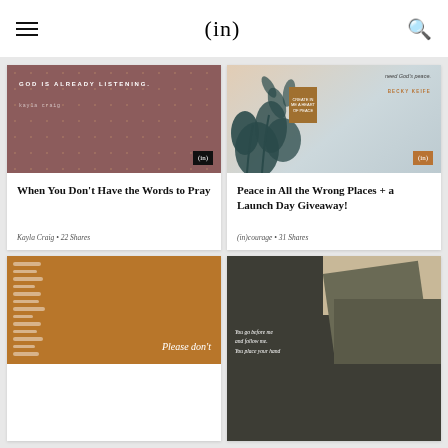(in)
[Figure (illustration): Mauve/rose colored card image with text 'GOD IS ALREADY LISTENING.' and author 'kayla craig', with (in) badge]
When You Don't Have the Words to Pray
Kayla Craig • 22 Shares
[Figure (illustration): Floral/botanical illustration on light background with teal plant silhouettes, book graphic, author name BECKY KEIFE, and (in) badge in amber]
Peace in All the Wrong Places + a Launch Day Giveaway!
(in)courage • 31 Shares
[Figure (illustration): Amber/brown card with white stripe pattern and italic text 'Please don't']
[Figure (illustration): Dark olive/charcoal geometric layered card with italic scripture text 'You go before me and follow me. You place your hand']